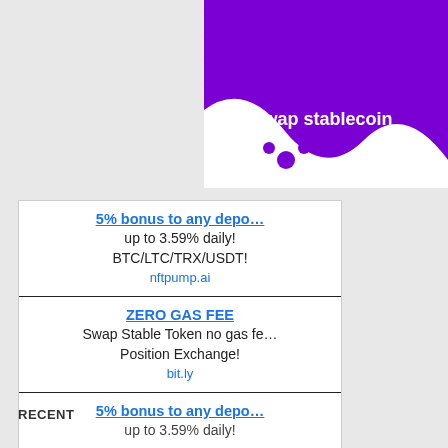[Figure (illustration): Purple banner with text 'Swap stablecoin' and a cryptocurrency/ripple-like logo graphic in white/purple]
5% bonus to any depo... up to 3.59% daily! BTC/LTC/TRX/USDT! nftpump.ai
ZERO GAS FEE Swap Stable Token no gas fe... Position Exchange! bit.ly
5% bonus to any depo... up to 3.59% daily!
RECENT